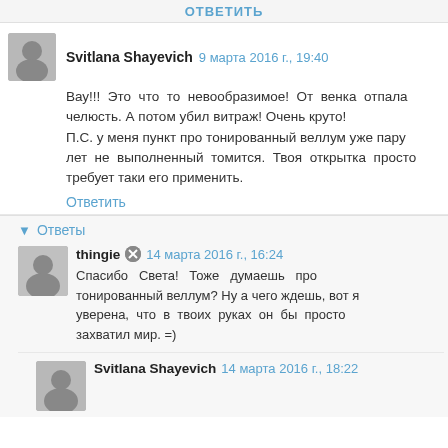ОТВЕТИТЬ
Svitlana Shayevich 9 марта 2016 г., 19:40
Вау!!! Это что то невообразимое! От венка отпала челюсть. А потом убил витраж! Очень круто!
П.С. у меня пункт про тонированный веллум уже пару лет не выполненный томится. Твоя открытка просто требует таки его применить.
Ответить
▾ Ответы
thingie 14 марта 2016 г., 16:24
Спасибо Света! Тоже думаешь про тонированный веллум? Ну а чего ждешь, вот я уверена, что в твоих руках он бы просто захватил мир. =)
Svitlana Shayevich 14 марта 2016 г., 18:22